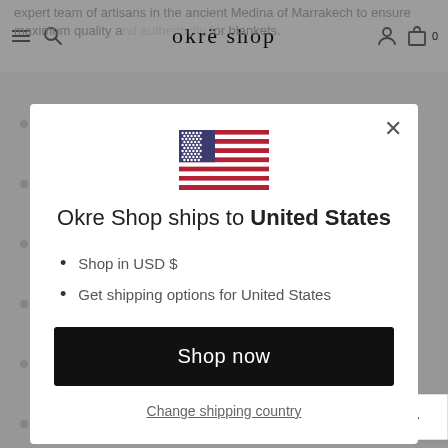expert team of artisans in the ancient Medina of Marrakech to ensure maximum quality and authenticity for blankets.
[Figure (screenshot): Okrë Shop website navigation bar with hamburger menu, search icon, logo 'okrë shop', user icon, bag icon, and cart count 0]
[Figure (illustration): Modal dialog box with US flag, text 'Okre Shop ships to United States', bullet points listing USD and shipping options, Shop now button, and Change shipping country link]
Shop in USD $
Get shipping options for United States
Okre Shop ships to United States
Shop now
Change shipping country
Write a review   ADD TO CART   EN